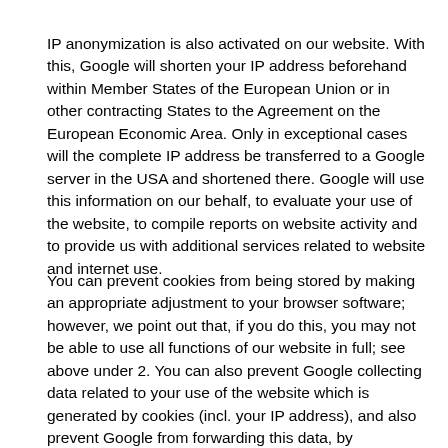IP anonymization is also activated on our website. With this, Google will shorten your IP address beforehand within Member States of the European Union or in other contracting States to the Agreement on the European Economic Area. Only in exceptional cases will the complete IP address be transferred to a Google server in the USA and shortened there. Google will use this information on our behalf, to evaluate your use of the website, to compile reports on website activity and to provide us with additional services related to website and internet use.
You can prevent cookies from being stored by making an appropriate adjustment to your browser software; however, we point out that, if you do this, you may not be able to use all functions of our website in full; see above under 2. You can also prevent Google collecting data related to your use of the website which is generated by cookies (incl. your IP address), and also prevent Google from forwarding this data, by downloading and installing the browser plugin available via the following link: install Browser Plugin. Further information on the Terms of Use and Google's data protection conditions